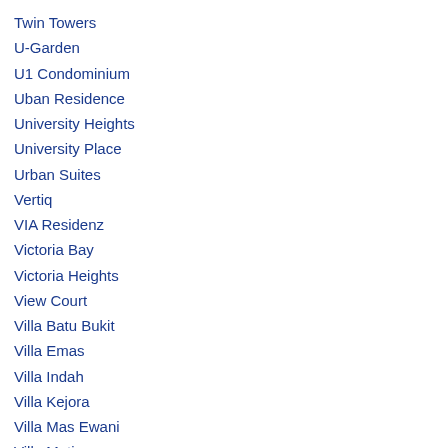Twin Towers
U-Garden
U1 Condominium
Uban Residence
University Heights
University Place
Urban Suites
Vertiq
VIA Residenz
Victoria Bay
Victoria Heights
View Court
Villa Batu Bukit
Villa Emas
Villa Indah
Villa Kejora
Villa Mas Ewani
Villa Mutiara